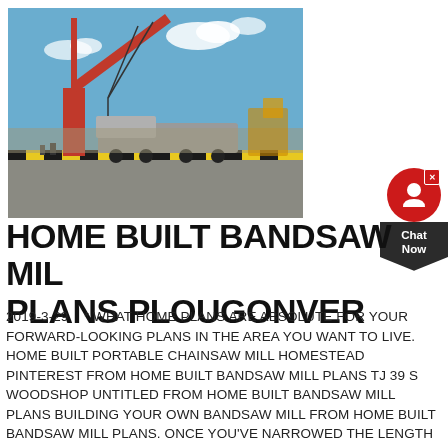[Figure (photo): An orange crane/derrick on a port or industrial waterfront area, with heavy machinery on a truck platform beneath it. Blue sky with light clouds in the background.]
[Figure (other): Chat Now widget with red circular icon showing a person/chat symbol, dark pentagon-shaped label reading 'Chat Now', with an X close button.]
HOME BUILT BANDSAW MILL PLANS PLOUGONVER
2019-3-29   * WHAT HOME PLANS ARE ABSOLUTE FOR YOUR FORWARD-LOOKING PLANS IN THE AREA YOU WANT TO LIVE. HOME BUILT PORTABLE CHAINSAW MILL HOMESTEAD PINTEREST FROM HOME BUILT BANDSAW MILL PLANS TJ 39 S WOODSHOP UNTITLED FROM HOME BUILT BANDSAW MILL PLANS BUILDING YOUR OWN BANDSAW MILL FROM HOME BUILT BANDSAW MILL PLANS. ONCE YOU'VE NARROWED THE LENGTH OF SOME OF YOUR FAVORITE FEATURES FOR A DRIVE